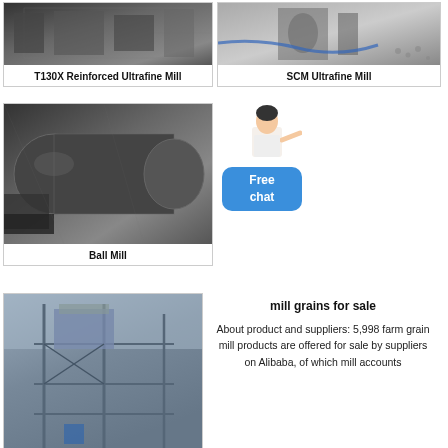[Figure (photo): T130X Reinforced Ultrafine Mill machinery in industrial warehouse]
T130X Reinforced Ultrafine Mill
[Figure (photo): SCM Ultrafine Mill machine with blue hose on factory floor with scattered grinding balls]
SCM Ultrafine Mill
[Figure (photo): Ball Mill large cylindrical industrial grinding machine in factory]
Ball Mill
[Figure (illustration): Free chat widget with woman and blue button saying Free chat]
[Figure (photo): Large industrial grain mill equipment structure outdoors]
mill grains for sale
About product and suppliers: 5,998 farm grain mill products are offered for sale by suppliers on Alibaba, of which mill accounts